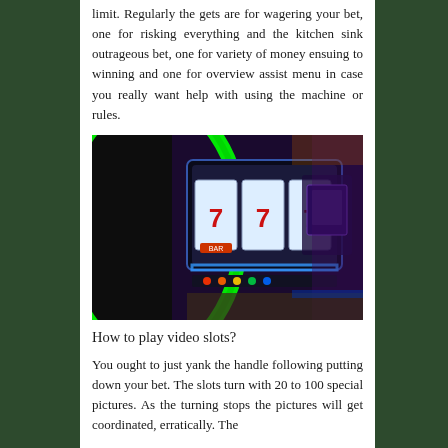limit. Regularly the gets are for wagering your bet, one for risking everything and the kitchen sink outrageous bet, one for variety of money ensuing to winning and one for overview assist menu in case you really want help with using the machine or rules.
[Figure (photo): Close-up photo of a slot machine with a glowing green ring border, showing reels with lucky 7 symbols and bar symbols, lit up with neon blue lights. Casino slot machines visible in the blurred background with purple and orange ambient lighting.]
How to play video slots?
You ought to just yank the handle following putting down your bet. The slots turn with 20 to 100 special pictures. As the turning stops the pictures will get coordinated, erratically. The